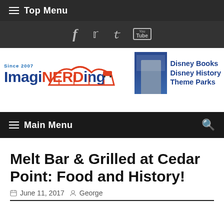≡ Top Menu
[Figure (logo): Social media icons: Facebook (f), Twitter (bird), YouTube]
[Figure (logo): ImagiNERDing logo with roller coaster graphic, Since 2007 text, and Disney Books Disney History Theme Parks advertisement]
≡ Main Menu
Melt Bar & Grilled at Cedar Point: Food and History!
June 11, 2017  George